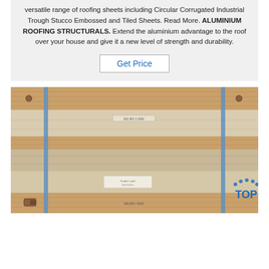versatile range of roofing sheets including Circular Corrugated Industrial Trough Stucco Embossed and Tiled Sheets. Read More. ALUMINIUM ROOFING STRUCTURALS. Extend the aluminium advantage to the roof over your house and give it a new level of strength and durability.
Get Price
[Figure (photo): Photo of stacked aluminium roofing sheets bundled in cream/beige protective wrapping, strapped with blue metal bands, placed on wooden pallets in a warehouse or storage area. A 'TOP' logo with dotted arc appears in the bottom right corner.]